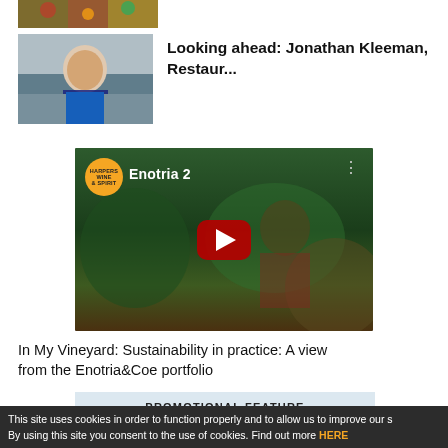[Figure (photo): Partial image strip at top showing produce/fruit]
[Figure (photo): Thumbnail photo of Jonathan Kleeman, a man in a suit]
Looking ahead: Jonathan Kleeman, Restaur...
[Figure (screenshot): YouTube video embed showing 'Enotria 2' with Harpers Wine & Spirit logo, play button overlay, man in vineyard background]
In My Vineyard: Sustainability in practice: A view from the Enotria&Coe portfolio
PROMOTIONAL FEATURE
This site uses cookies in order to function properly and to allow us to improve our s By using this site you consent to the use of cookies. Find out more HERE